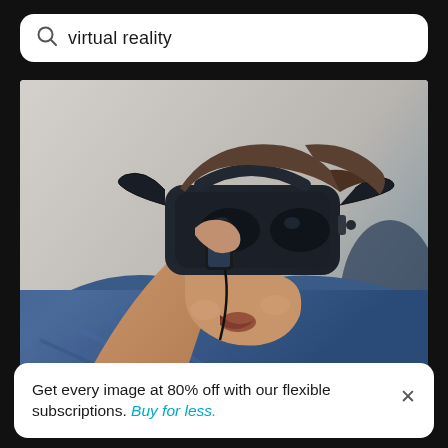virtual reality
[Figure (photo): Man wearing a VR headset while holding a mobile phone, smiling/excited, wearing a blue plaid shirt. Background is light grey/blue.]
Portrait of man photographing with mobile phone
Get every image at 80% off with our flexible subscriptions. Buy for less.